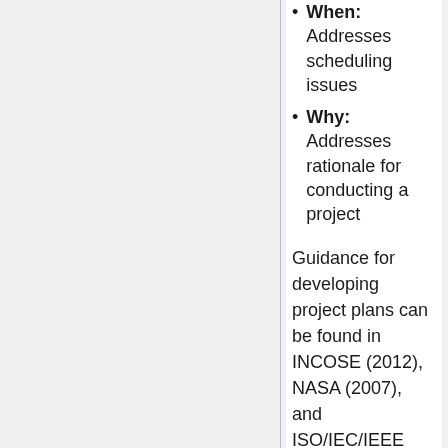When: Addresses scheduling issues
Why: Addresses rationale for conducting a project
Guidance for developing project plans can be found in INCOSE (2012), NASA (2007), and ISO/IEC/IEEE Standard 16326:2009. It is often observed that communication and coordination among stakeholders during project planning are equally as important as (and sometimes more